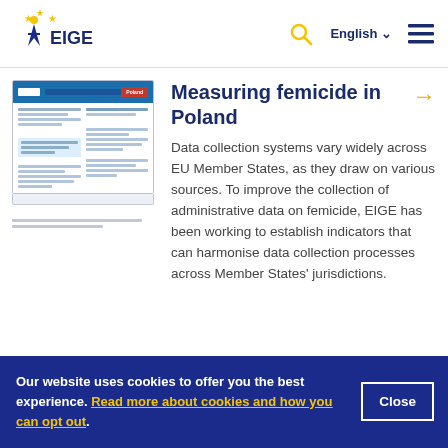[Figure (screenshot): EIGE website navigation bar with logo, search icon, language selector (English), and hamburger menu]
[Figure (illustration): Thumbnail of a document page titled 'Measuring femicide in Poland']
Measuring femicide in Poland
Data collection systems vary widely across EU Member States, as they draw on various sources. To improve the collection of administrative data on femicide, EIGE has been working to establish indicators that can harmonise data collection processes across Member States' jurisdictions.
Our website uses cookies to offer you the best experience. Read more about cookies and how you can opt out.